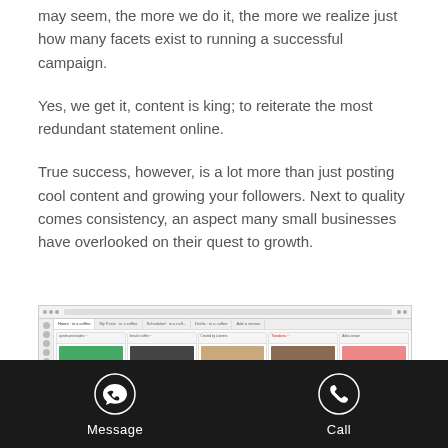may seem, the more we do it, the more we realize just how many facets exist to running a successful campaign.
Yes, we get it, content is king; to reiterate the most redundant statement online.
True success, however, is a lot more than just posting cool content and growing your followers. Next to quality comes consistency, an aspect many small businesses have overlooked on their quest to growth.
[Figure (screenshot): Screenshot of a social media management dashboard (likely Hootsuite) showing multiple streams: Home, My Posts, Scheduled, Drafts, and Add a stream, with coffee-related social media posts and images visible.]
Message   Call